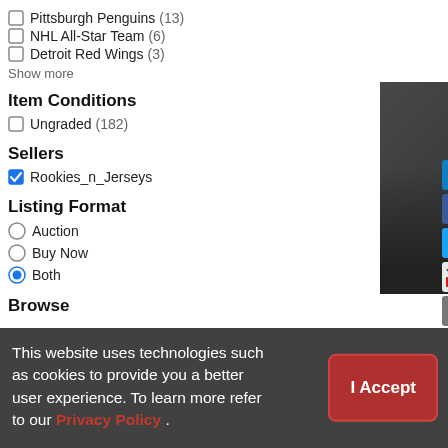Pittsburgh Penguins (13)
NHL All-Star Team (6)
Detroit Red Wings (3)
Show more
Item Conditions
Ungraded (182)
Sellers
Rookies_n_Jerseys
Listing Format
Auction
Buy Now
Both
Browse
$46.48
[Figure (screenshot): Hockey card showing player in black uniform with IMMORTALS text, Panini brand]
2011-12 Panini C... #161
Immortals - Luc ...
$7.73
This website uses technologies such as cookies to provide you a better user experience. To learn more refer to our Privacy Policy .